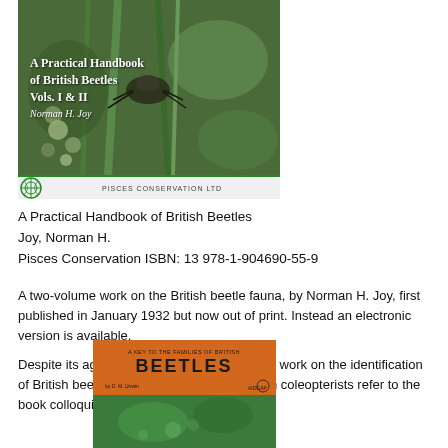[Figure (photo): Book cover of 'A Practical Handbook of British Beetles Vols. I & II' by Norman H. Joy, published by Pisces Conservation Ltd. Shows a beetle on green plant stems. Has Pisces Conservation Ltd logo and text at bottom.]
A Practical Handbook of British Beetles
Joy, Norman H.
Pisces Conservation ISBN: 13 978-1-904690-55-9
A two-volume work on the British beetle fauna, by Norman H. Joy, first published in January 1932 but now out of print. Instead an electronic version is available.
Despite its age, it has remained the standard work on the identification of British beetles into the 21st century. British coleopterists refer to the book colloquially simply as "Joy".
[Figure (photo): Book cover of 'A Key to the Families of British Beetles' showing orange cover with 'BEETLES' title text and a green nature image at the bottom with AIDGAP logo.]